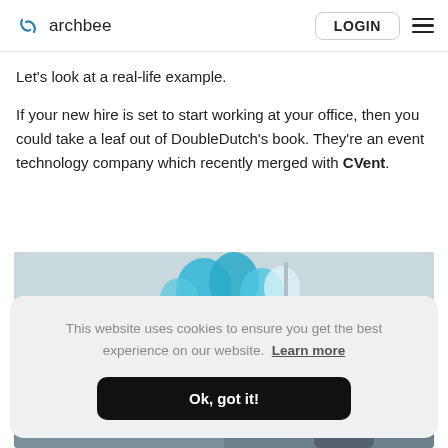archbee  LOGIN ☰
Let's look at a real-life example.
If your new hire is set to start working at your office, then you could take a leaf out of DoubleDutch's book. They're an event technology company which recently merged with CVent.
[Figure (photo): Photo of an office scene with blue balloons visible at the top and office furniture/signage at the bottom.]
This website uses cookies to ensure you get the best experience on our website.  Learn more
Ok, got it!